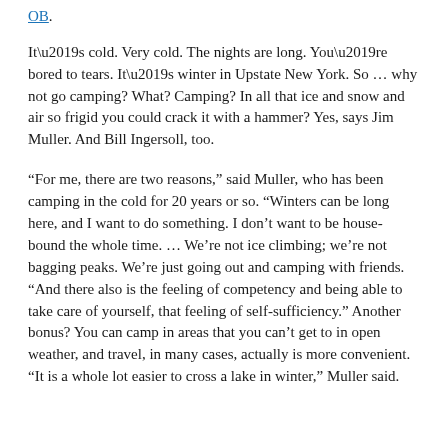OB.
It’s cold. Very cold. The nights are long. You’re bored to tears. It’s winter in Upstate New York. So … why not go camping? What? Camping? In all that ice and snow and air so frigid you could crack it with a hammer? Yes, says Jim Muller. And Bill Ingersoll, too.
“For me, there are two reasons,” said Muller, who has been camping in the cold for 20 years or so. “Winters can be long here, and I want to do something. I don’t want to be house-bound the whole time. … We’re not ice climbing; we’re not bagging peaks. We’re just going out and camping with friends.  “And there also is the feeling of competency and being able to take care of yourself, that feeling of self-sufficiency.” Another bonus? You can camp in areas that you can’t get to in open weather, and travel, in many cases, actually is more convenient. “It is a whole lot easier to cross a lake in winter,” Muller said.